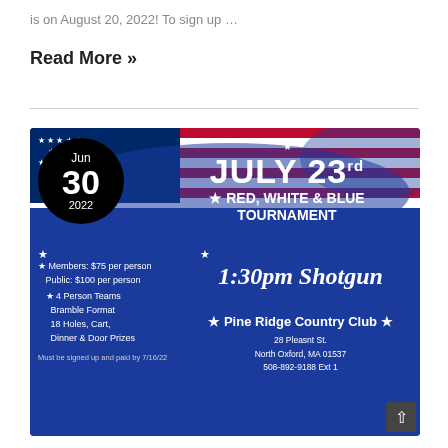is on August 20, 2022! To sign up …
Read More »
[Figure (infographic): Red, White & Blue Tournament event flyer for July 23rd at Pine Ridge Country Club. Features an American flag background, black circular date badge showing Jun 30 2022, event details including pricing ($75 members, $100 public), 4 Person Teams Bramble Format, 18 Holes, Cart, Dinner & Door Prizes, 1:30pm Shotgun start. Address: 28 Pleasnt St., North Oxford, MA 01537, 508-892-9188 Ext 1.]